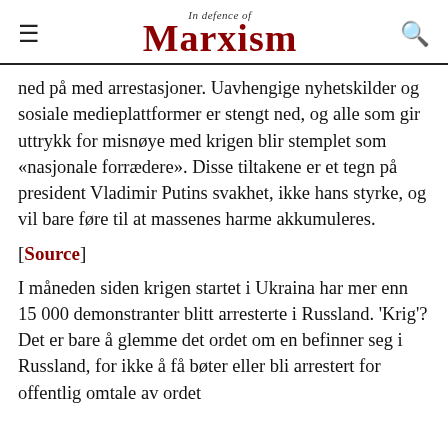In Defence of Marxism
ned på med arrestasjoner. Uavhengige nyhetskilder og sosiale medieplattformer er stengt ned, og alle som gir uttrykk for misnøye med krigen blir stemplet som «nasjonale forrædere». Disse tiltakene er et tegn på president Vladimir Putins svakhet, ikke hans styrke, og vil bare føre til at massenes harme akkumuleres.
[Source]
I måneden siden krigen startet i Ukraina har mer enn 15 000 demonstranter blitt arresterte i Russland. 'Krig'? Det er bare å glemme det ordet om en befinner seg i Russland, for ikke å få bøter eller bli arrestert for offentlig omtale av ordet